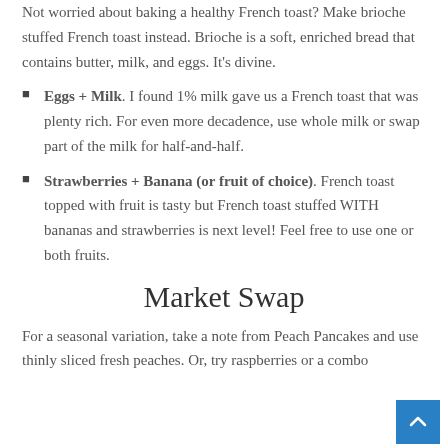Not worried about baking a healthy French toast? Make brioche stuffed French toast instead. Brioche is a soft, enriched bread that contains butter, milk, and eggs. It's divine.
Eggs + Milk. I found 1% milk gave us a French toast that was plenty rich. For even more decadence, use whole milk or swap part of the milk for half-and-half.
Strawberries + Banana (or fruit of choice). French toast topped with fruit is tasty but French toast stuffed WITH bananas and strawberries is next level! Feel free to use one or both fruits.
Market Swap
For a seasonal variation, take a note from Peach Pancakes and use thinly sliced fresh peaches. Or, try raspberries or a combo